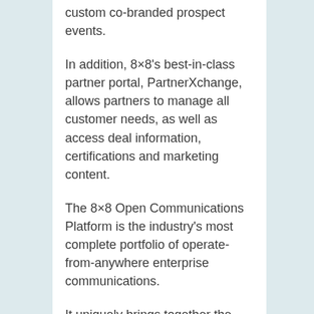custom co-branded prospect events.
In addition, 8×8's best-in-class partner portal, PartnerXchange, allows partners to manage all customer needs, as well as access deal information, certifications and marketing content.
The 8×8 Open Communications Platform is the industry's most complete portfolio of operate-from-anywhere enterprise communications.
It uniquely brings together the essential elements required,